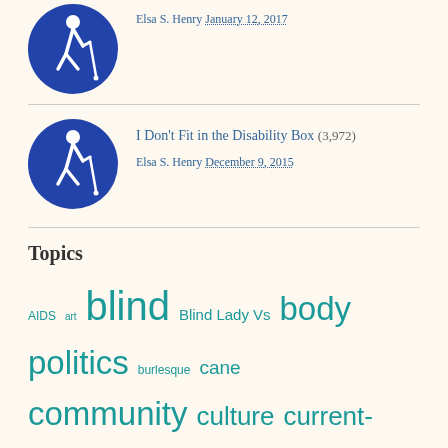[Figure (illustration): Blue circular icon showing a person with a white cane walking, representing visual impairment / blind pedestrian]
Elsa S. Henry January 12, 2017
[Figure (illustration): Blue circular icon showing a person with a white cane walking, representing visual impairment / blind pedestrian]
I Don't Fit in the Disability Box (3,972)
Elsa S. Henry December 9, 2015
Topics
AIDS art blind Blind Lady Vs body politics burlesque cane community culture current-events deaf democracy dialogue disability election 2012 family feminism film gaming guest post history human-rights internet language LGBT living the life criptastic love marriage mental-health opinion parenting photography politics